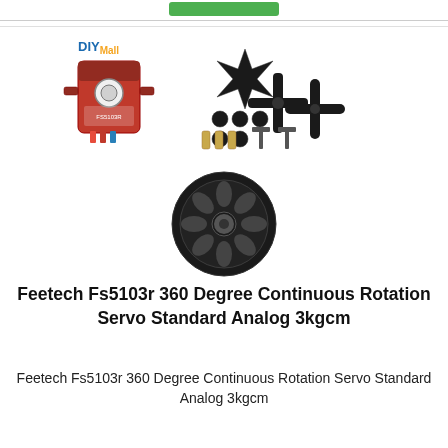[Figure (photo): Product photo of Feetech Fs5103r servo motor with accessories including servo horns, screws, and a wheel, displayed on white background with DIYMall logo]
Feetech Fs5103r 360 Degree Continuous Rotation Servo Standard Analog 3kgcm
Feetech Fs5103r 360 Degree Continuous Rotation Servo Standard Analog 3kgcm